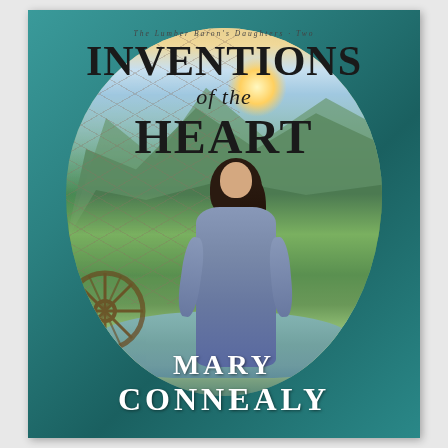[Figure (illustration): Book cover for 'Inventions of the Heart' by Mary Connealy. The cover shows a woman with long dark hair wearing a blue-grey dress, standing against a scenic backdrop of mountains, green valleys, and a lake/water reflection. A wagon wheel is visible in the lower left. The scene appears through an oval/egg-shaped vignette. A rope or net texture overlays the left side. The background outside the oval is teal/blue-green. Series label reads 'The Lumber Baron's Daughters · Two' at the top.]
The Lumber Baron's Daughters · Two
INVENTIONS of the HEART
Mary Connealy